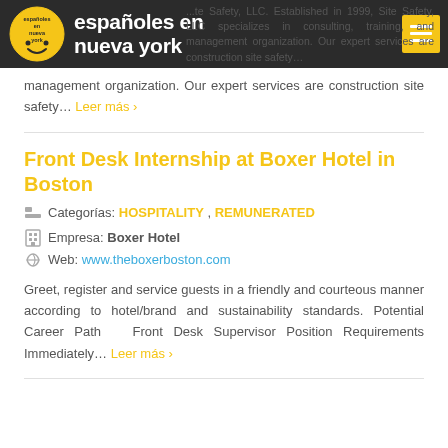españoles en nueva york
...te Safety, LLC. Established in 1999, Site Safety, LLC specializes in consulting, training, and management organization. Our expert services are construction site safety… Leer más ›
Front Desk Internship at Boxer Hotel in Boston
Categorías: HOSPITALITY , REMUNERATED
Empresa: Boxer Hotel
Web: www.theboxerboston.com
Greet, register and service guests in a friendly and courteous manner according to hotel/brand and sustainability standards. Potential Career Path   Front Desk Supervisor Position Requirements Immediately… Leer más ›